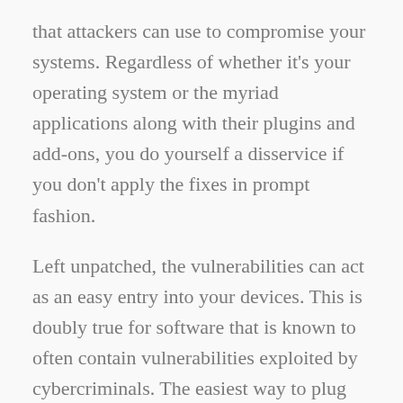that attackers can use to compromise your systems. Regardless of whether it's your operating system or the myriad applications along with their plugins and add-ons, you do yourself a disservice if you don't apply the fixes in prompt fashion.
Left unpatched, the vulnerabilities can act as an easy entry into your devices. This is doubly true for software that is known to often contain vulnerabilities exploited by cybercriminals. The easiest way to plug known holes in your software, in home settings anyway, is enabling automatic updates.
In addition, it is extremely important to enable auto-updates also for your dedicated security software. A reputable security solution uses multiple layers of